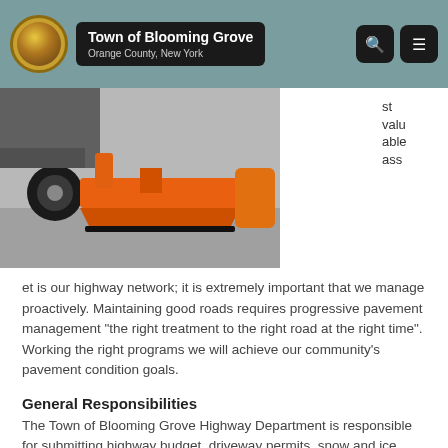Town of Blooming Grove — Orange County, New York
[Figure (photo): Orange snow plow attached to a highway truck, photographed close-up showing the blade and wings.]
st valuable asset is our highway network; it is extremely important that we manage proactively. Maintaining good roads requires progressive pavement management "the right treatment to the right road at the right time". Working the right programs we will achieve our community's pavement condition goals.
General Responsibilities
The Town of Blooming Grove Highway Department is responsible for submitting highway budget, driveway permits, snow and ice removal, highway inventory, crew management,